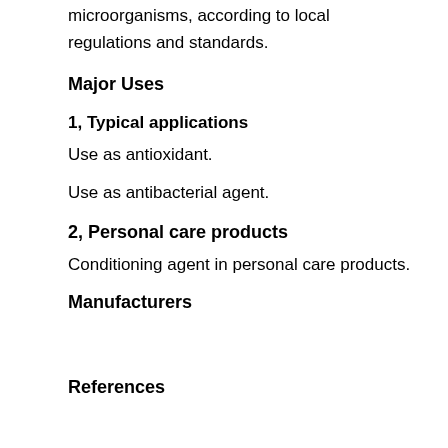microorganisms, according to local regulations and standards.
Major Uses
1, Typical applications
Use as antioxidant.
Use as antibacterial agent.
2, Personal care products
Conditioning agent in personal care products.
Manufacturers
References